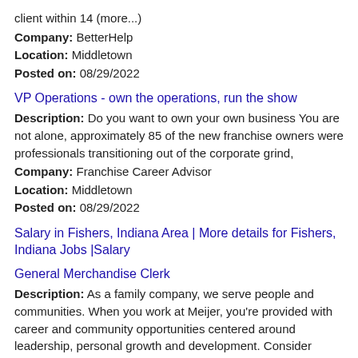client within 14 (more...)
Company: BetterHelp
Location: Middletown
Posted on: 08/29/2022
VP Operations - own the operations, run the show
Description: Do you want to own your own business You are not alone, approximately 85 of the new franchise owners were professionals transitioning out of the corporate grind,
Company: Franchise Career Advisor
Location: Middletown
Posted on: 08/29/2022
Salary in Fishers, Indiana Area | More details for Fishers, Indiana Jobs |Salary
General Merchandise Clerk
Description: As a family company, we serve people and communities. When you work at Meijer, you're provided with career and community opportunities centered around leadership, personal growth and development. Consider (more...)
Company: Meijer Inc.
Location: Fairfield
Posted on: 08/29/2022